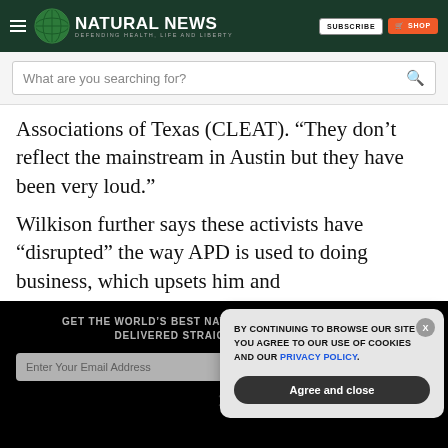NATURAL NEWS — DEFENDING HEALTH, LIFE AND LIBERTY
What are you searching for?
Associations of Texas (CLEAT). “They don’t reflect the mainstream in Austin but they have been very loud.”
Wilkison further says these activists have “disrupted” the way APD is used to doing business, which upsets him and
GET THE WORLD'S BEST NATURAL HEALTH NEWSLETTER DELIVERED STRAIGHT TO YOUR INBOX
Enter Your Email Address
BY CONTINUING TO BROWSE OUR SITE YOU AGREE TO OUR USE OF COOKIES AND OUR PRIVACY POLICY.
Agree and close